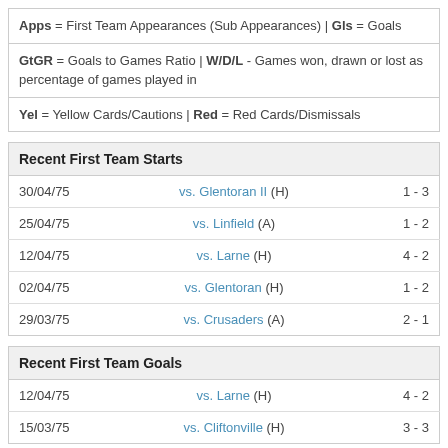Apps = First Team Appearances (Sub Appearances) | Gls = Goals
GtGR = Goals to Games Ratio | W/D/L - Games won, drawn or lost as percentage of games played in
Yel = Yellow Cards/Cautions | Red = Red Cards/Dismissals
Recent First Team Starts
| Date | Match | Score |
| --- | --- | --- |
| 30/04/75 | vs. Glentoran II (H) | 1 - 3 |
| 25/04/75 | vs. Linfield (A) | 1 - 2 |
| 12/04/75 | vs. Larne (H) | 4 - 2 |
| 02/04/75 | vs. Glentoran (H) | 1 - 2 |
| 29/03/75 | vs. Crusaders (A) | 2 - 1 |
Recent First Team Goals
| Date | Match | Score |
| --- | --- | --- |
| 12/04/75 | vs. Larne (H) | 4 - 2 |
| 15/03/75 | vs. Cliftonville (H) | 3 - 3 |